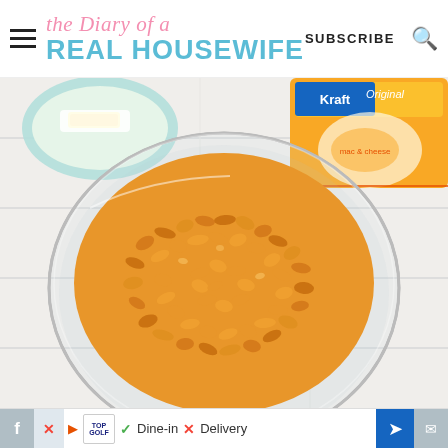the Diary of a REAL HOUSEWIFE — SUBSCRIBE
[Figure (photo): Top-down photo of a glass bowl filled with dry elbow macaroni pasta, next to a box of Kraft Original mac and cheese and a small teal bowl with butter, all on a white wooden surface.]
f | TOPGOLF | Dine-in | X Delivery | navigation arrow | mail